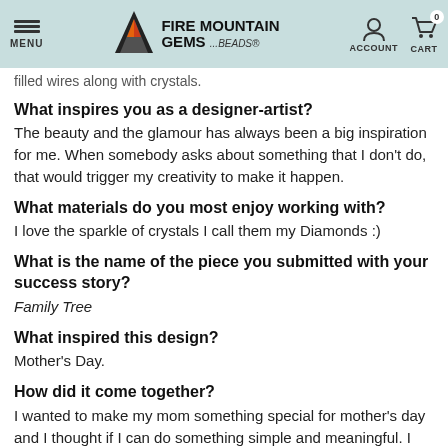MENU | FIRE MOUNTAIN GEMS ...Beads® | ACCOUNT | CART 0
filled wires along with crystals.
What inspires you as a designer-artist?
The beauty and the glamour has always been a big inspiration for me. When somebody asks about something that I don't do, that would trigger my creativity to make it happen.
What materials do you most enjoy working with?
I love the sparkle of crystals I call them my Diamonds :)
What is the name of the piece you submitted with your success story?
Family Tree
What inspired this design?
Mother's Day.
How did it come together?
I wanted to make my mom something special for mother's day and I thought if I can do something simple and meaningful. I kept trying till I nailed it!